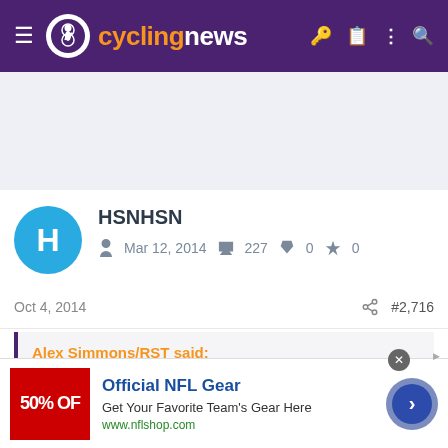cyclingnews
[Figure (other): Advertisement placeholder area, light blue-gray background]
HSNHSN
Mar 12, 2014  227  0  0
Oct 4, 2014  #2,716
Alex Simmons/RST said:
[Figure (other): NFL Shop advertisement banner: Official NFL Gear, 50% OFF, Get Your Favorite Team's Gear Here, www.nflshop.com]